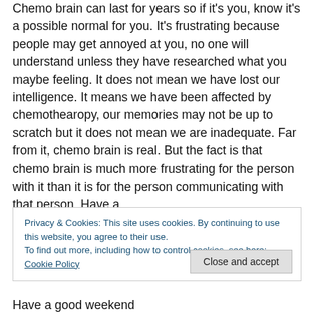Chemo brain can last for years so if it's you, know it's a possible normal for you. It's frustrating because people may get annoyed at you, no one will understand unless they have researched what you maybe feeling. It does not mean we have lost our intelligence. It means we have been affected by chemothearopy, our memories may not be up to scratch but it does not mean we are inadequate. Far from it, chemo brain is real. But the fact is that chemo brain is much more frustrating for the person with it than it is for the person communicating with that person. Have a
Privacy & Cookies: This site uses cookies. By continuing to use this website, you agree to their use.
To find out more, including how to control cookies, see here: Cookie Policy
Have a good weekend